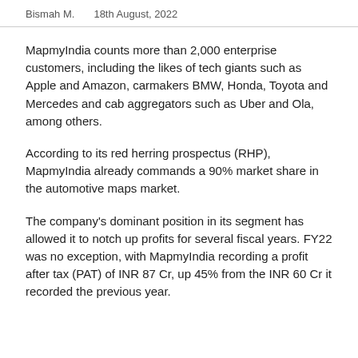Bismah M.   18th August, 2022
MapmyIndia counts more than 2,000 enterprise customers, including the likes of tech giants such as Apple and Amazon, carmakers BMW, Honda, Toyota and Mercedes and cab aggregators such as Uber and Ola, among others.
According to its red herring prospectus (RHP), MapmyIndia already commands a 90% market share in the automotive maps market.
The company's dominant position in its segment has allowed it to notch up profits for several fiscal years. FY22 was no exception, with MapmyIndia recording a profit after tax (PAT) of INR 87 Cr, up 45% from the INR 60 Cr it recorded the previous year.